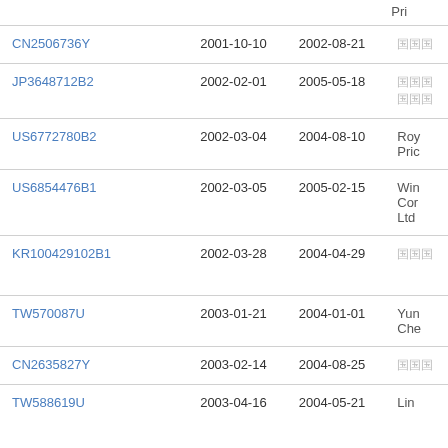| Patent Number | Filing Date | Publication Date | Assignee |
| --- | --- | --- | --- |
| CN2506736Y | 2001-10-10 | 2002-08-21 | （CJK） |
| JP3648712B2 | 2002-02-01 | 2005-05-18 | （CJK）（CJK） |
| US6772780B2 | 2002-03-04 | 2004-08-10 | Roy… Pric… |
| US6854476B1 | 2002-03-05 | 2005-02-15 | Win… Cor… Ltd |
| KR100429102B1 | 2002-03-28 | 2004-04-29 | （CJK） |
| TW570087U | 2003-01-21 | 2004-01-01 | Yun… Che… |
| CN2635827Y | 2003-02-14 | 2004-08-25 | （CJK） |
| TW588619U | 2003-04-16 | 2004-05-21 | Lin… |